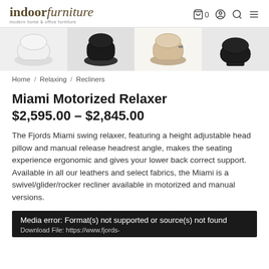indoor furniture — modern home & office furniture | cart 0, account, search, menu
[Figure (photo): Four product color/material sample thumbnails of the Miami Motorized Relaxer in white, black, beige/tan, and dark brown]
Home / Relaxing / Recliners
Miami Motorized Relaxer
$2,595.00 – $2,845.00
The Fjords Miami swing relaxer, featuring a height adjustable head pillow and manual release headrest angle, makes the seating experience ergonomic and gives your lower back correct support. Available in all our leathers and select fabrics, the Miami is a swivel/glider/rocker recliner available in motorized and manual versions.
Media error: Format(s) not supported or source(s) not found
Download File: https://www.fjords-